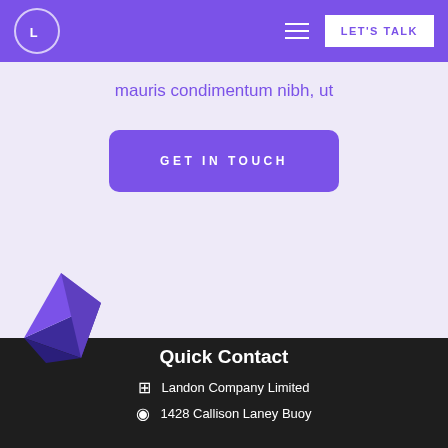LET'S TALK
mauris condimentum nibh, ut
GET IN TOUCH
[Figure (illustration): 3D purple geometric diamond/arrow shape decoration overlapping the boundary between the light and dark sections]
Quick Contact
Landon Company Limited
1428 Callison Laney Buoy